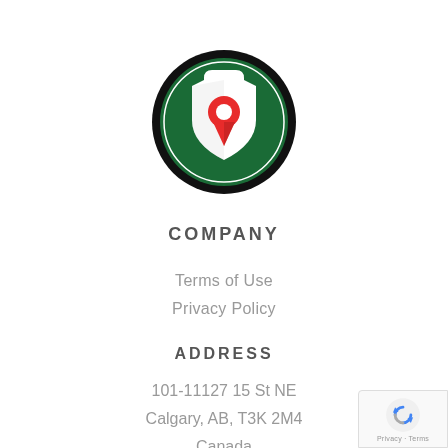[Figure (logo): Circular logo with dark green background, white shield shape, red location pin icon in center]
COMPANY
Terms of Use
Privacy Policy
ADDRESS
101-11127 15 St NE
Calgary, AB, T3K 2M4
Canada
CONTACT